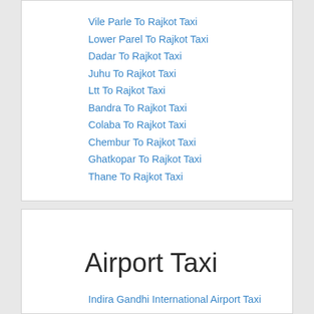Vile Parle To Rajkot Taxi
Lower Parel To Rajkot Taxi
Dadar To Rajkot Taxi
Juhu To Rajkot Taxi
Ltt To Rajkot Taxi
Bandra To Rajkot Taxi
Colaba To Rajkot Taxi
Chembur To Rajkot Taxi
Ghatkopar To Rajkot Taxi
Thane To Rajkot Taxi
Airport Taxi
Indira Gandhi International Airport Taxi